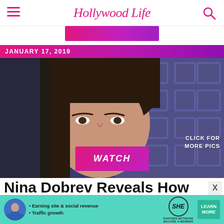HollywoodLife
[Figure (photo): Pink/magenta banner ad at top center]
JANUARY 17, 2019
[Figure (photo): Close-up photo of Nina Dobrev looking upward, with blue geometric set background. A pink WATCH button overlaid at center-bottom, and white text 'CLICK FOR MORE PICS' at bottom right.]
Nina Dobrev Reveals How She Feels About The Ending
[Figure (infographic): Bottom advertisement banner for SHE Partner Network in teal/green color. Bullet points: Earning site & social revenue, Traffic growth. SHE logo with PARTNER NETWORK / BECOME A MEMBER text. LEARN MORE button.]